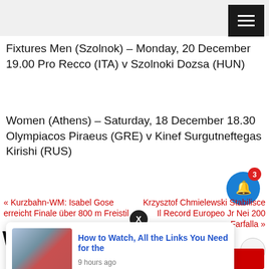Fixtures Men (Szolnok) – Monday, 20 December 19.00 Pro Recco (ITA) v Szolnoki Dozsa (HUN)
Women (Athens) – Saturday, 18 December 18.30 Olympiacos Piraeus (GRE) v Kinef Surgutneftegas Kirishi (RUS)
« Kurzbahn-WM: Isabel Gose erreicht Finale über 800 m Freistil
Krzysztof Chmielewski Stabilisce Il Record Europeo Jr Nei 200 Farfalla »
WATER POLO
How to Watch, All the Links You Need for the
9 hours ago